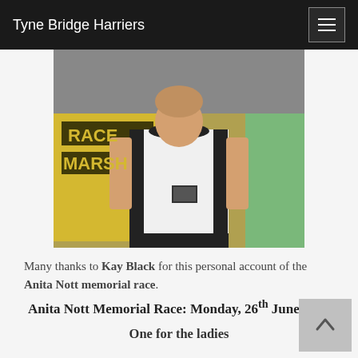Tyne Bridge Harriers
[Figure (photo): A person wearing a white running vest with black trim at a race event, with a yellow 'RACE MARSHAL' sign visible in the background and a person in green on the right.]
Many thanks to Kay Black for this personal account of the Anita Nott memorial race.
Anita Nott Memorial Race: Monday, 26th June 2017
One for the ladies